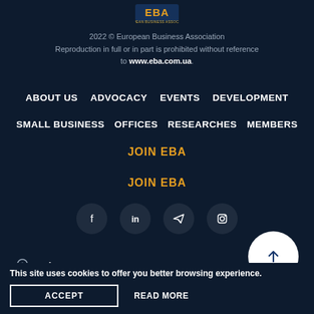[Figure (logo): EBA (European Business Association) logo in yellow/gold colors at the top center]
2022 © European Business Association
Reproduction in full or in part is prohibited without reference to www.eba.com.ua.
ABOUT US
ADVOCACY
EVENTS
DEVELOPMENT
SMALL BUSINESS
OFFICES
RESEARCHES
MEMBERS
JOIN EBA
JOIN EBA
[Figure (infographic): Social media icon buttons: Facebook, LinkedIn, Telegram, Instagram — dark circular backgrounds]
Kyiv
This site uses cookies to offer you better browsing experience.
ACCEPT
READ MORE